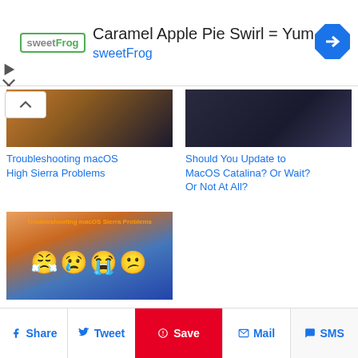[Figure (screenshot): SweetFrog advertisement banner with logo, title 'Caramel Apple Pie Swirl = Yum', sweetFrog subtitle, and navigation arrow icon]
[Figure (photo): Partial cropped thumbnail image - warm brown/orange tones, macOS related article image for Troubleshooting macOS High Sierra Problems]
[Figure (photo): Dark themed thumbnail for Should You Update to MacOS Catalina? Or Wait? Or Not At All?]
Troubleshooting macOS High Sierra Problems
Should You Update to MacOS Catalina? Or Wait? Or Not At All?
[Figure (photo): Troubleshooting macOS Sierra Problems thumbnail with mountain background and four distressed emoji faces]
Troubleshooting macOS Sierra Problems
Share   Tweet   Save   Mail   SMS